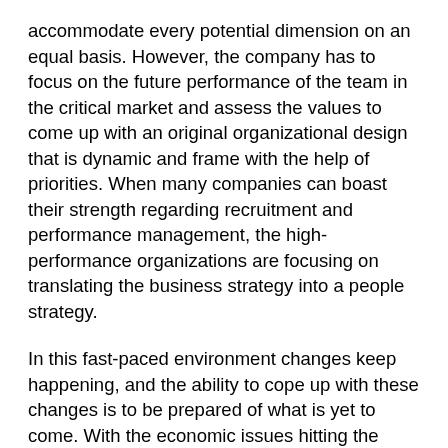accommodate every potential dimension on an equal basis. However, the company has to focus on the future performance of the team in the critical market and assess the values to come up with an original organizational design that is dynamic and frame with the help of priorities. When many companies can boast their strength regarding recruitment and performance management, the high-performance organizations are focusing on translating the business strategy into a people strategy.
In this fast-paced environment changes keep happening, and the ability to cope up with these changes is to be prepared of what is yet to come. With the economic issues hitting the industries, the companies must already have an incident response plan with a backup plan framed just in case the changes hit company negative. Only on a positive note, the difference would be technological. These changes must mandatorily be adopted by the company and be incorporated within the existing business systems to make sure they have a sustainable position in the market.